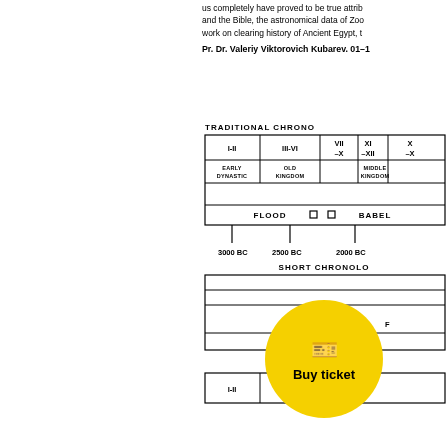us completely have proved to be true attrib and the Bible, the astronomical data of Zoo work on clearing history of Ancient Egypt, t
Pr. Dr. Valeriy Viktorovich Kubarev. 01–1
[Figure (infographic): Traditional Chronology chart with dynasties I-II, III-VI, VII-X, XI-XII, X-X, Early Dynastic, Old Kingdom, Middle Kingdom, FLOOD, BABEL labels, timeline 3000 BC, 2500 BC, 2000 BC. Short Chronology charts below partially visible. A yellow 'Buy ticket' circle overlay covers part of the lower chart.]